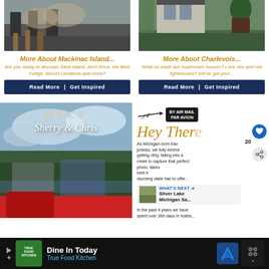[Figure (photo): Photo of horses/bicycles near Mackinac Island]
More About Mackinac Island...
Are you ready to discover Skull Island, Arch Rock, the Best Fudge, Secret Locations and more?
[Figure (photo): Photo of Charlevoix stone house exterior]
More About Charlevoix...
What on earth are mushroom houses? Love ribs and red lighthouses? We've got you!...
[Figure (photo): Photo of Sherry and Chris posing in front of a red ATV by a lake]
[Figure (screenshot): Blog panel with Hey There text, airmail stamp, body text about Michigan-born travel junkies, and What's Next Silver Lake Michigan Sa... card]
[Figure (photo): Advertisement: True Food Kitchen - Dine In Today]